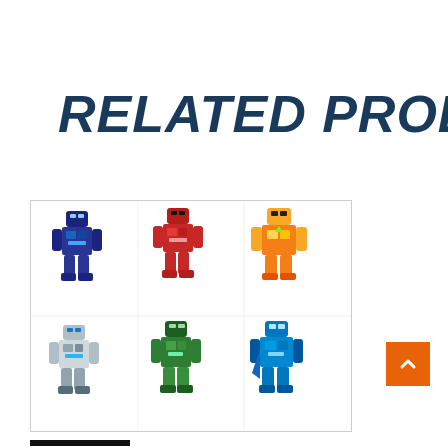RELATED PRODUCTS
[Figure (photo): A 2x3 grid of six Transformers-style robot action figures in different colors: blue/dark, red, yellow, white/light blue, green, and blue/teal, displayed on a white background with a light border.]